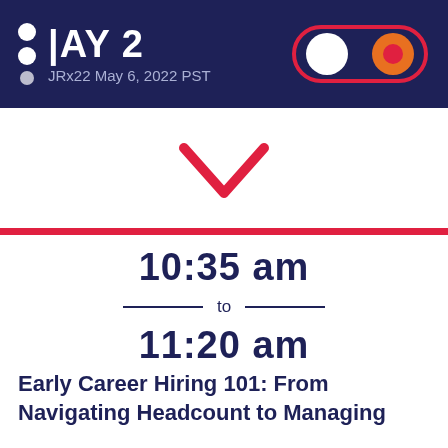DAY 2 | JRx22 May 6, 2022 PST
[Figure (illustration): Red chevron/check down arrow icon]
10:35 am to 11:20 am
Early Career Hiring 101: From Navigating Headcount to Managing